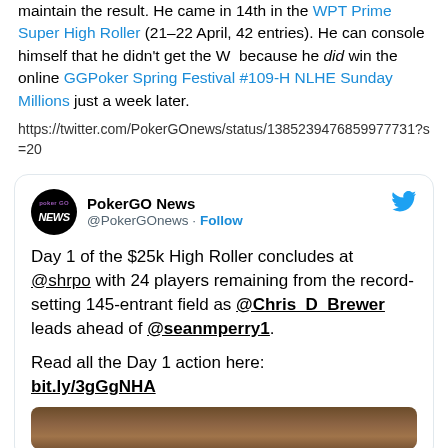maintain the result. He came in 14th in the WPT Prime Super High Roller (21–22 April, 42 entries). He can console himself that he didn't get the W because he did win the online GGPoker Spring Festival #109-H NLHE Sunday Millions just a week later.
https://twitter.com/PokerGOnews/status/1385239476859977731?s=20
[Figure (screenshot): Embedded tweet from PokerGO News (@PokerGOnews) with Follow button and Twitter bird logo. Tweet text: Day 1 of the $25k High Roller concludes at @shrpo with 24 players remaining from the record-setting 145-entrant field as @Chris_D_Brewer leads ahead of @seanmperry1. Read all the Day 1 action here: bit.ly/3gGgNHA. Followed by a partial image of people at a poker table.]